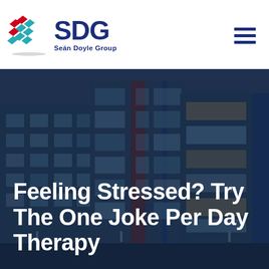[Figure (logo): Seán Doyle Group logo with coloured grid squares icon and SDG text]
[Figure (photo): Modern apartment building exterior at dusk with blue dark overlay, multiple storeys with large windows and balconies]
Feeling Stressed? Try The One Joke Per Day Therapy